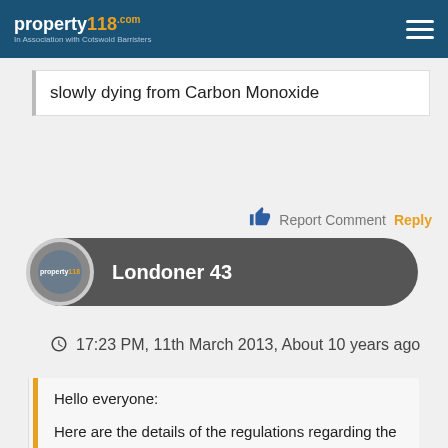property118.com | In Association with Cotswold Barristers
slowly dying from Carbon Monoxide
Report Comment  Reply
Londoner 43
17:23 PM, 11th March 2013, About 10 years ago
Hello everyone:

Here are the details of the regulations regarding the inspection hatches: